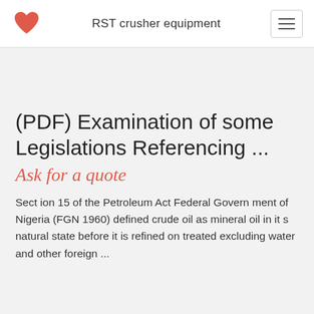RST crusher equipment
(PDF) Examination of some Legislations Referencing ...
Ask for a quote
Sect ion 15 of the Petroleum Act Federal Govern ment of Nigeria (FGN 1960) defined crude oil as mineral oil in it s natural state before it is refined on treated excluding water and other foreign ...